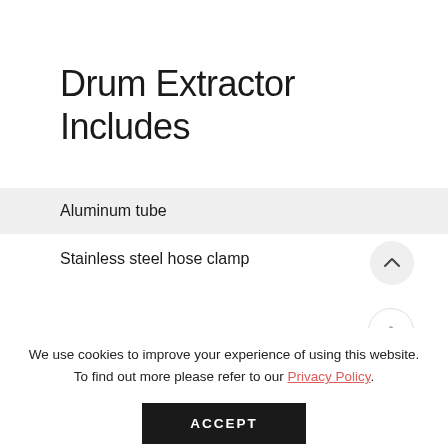Drum Extractor Includes
Aluminum tube
Stainless steel hose clamp
We use cookies to improve your experience of using this website. To find out more please refer to our Privacy Policy.
ACCEPT